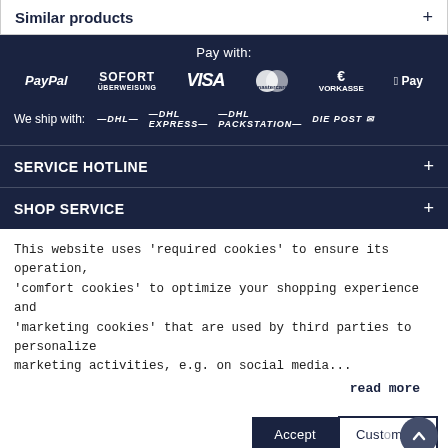Similar products +
Pay with:
[Figure (logo): Payment method logos: PayPal, SOFORT Überweisung, VISA, Mastercard, €VORKASSE, Apple Pay]
We ship with: DHL, DHL EXPRESS, DHL PACKSTATION, DIE POST
SERVICE HOTLINE +
SHOP SERVICE +
This website uses 'required cookies' to ensure its operation, 'comfort cookies' to optimize your shopping experience and 'marketing cookies' that are used by third parties to personalize marketing activities, e.g. on social media...
read more
Accept   Customize